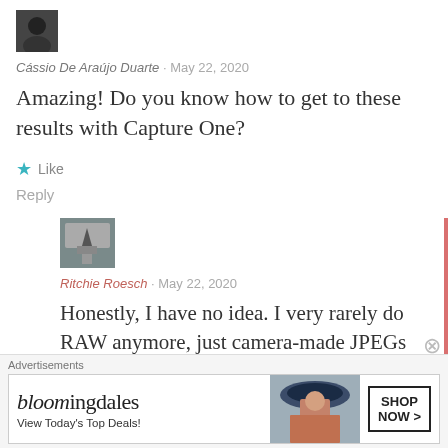[Figure (photo): Small avatar photo of a person wearing dark clothing]
Cássio De Araújo Duarte · May 22, 2020
Amazing! Do you know how to get to these results with Capture One?
★ Like
Reply
[Figure (photo): Avatar image with road/landscape and arrow graphic]
Ritchie Roesch · May 22, 2020
Honestly, I have no idea. I very rarely do RAW anymore, just camera-made JPEGs
Advertisements
[Figure (photo): Bloomingdale's advertisement banner with woman in hat. Text: bloomingdales, View Today's Top Deals!, SHOP NOW >]